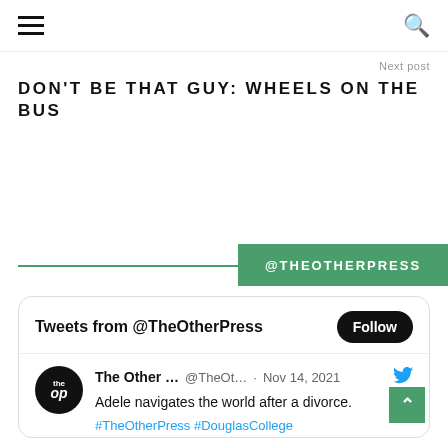Navigation bar with hamburger menu and search icon
Next post
DON'T BE THAT GUY: WHEELS ON THE BUS
@THEOTHERPRESS
[Figure (screenshot): Twitter widget showing Tweets from @TheOtherPress with a Follow button and a tweet from The Other Press (@TheOt...) on Nov 14, 2021 saying 'Adele navigates the world after a divorce. #TheOtherPress #DouglasCollege theotherpress.ca/the-sentimenta…']